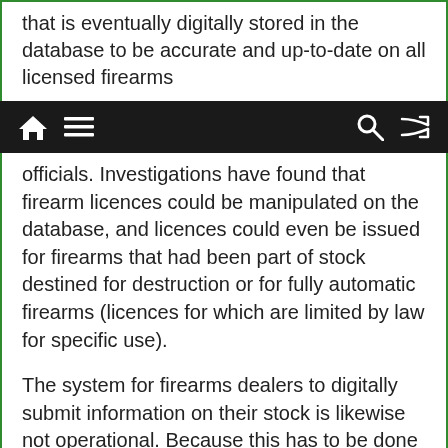that is eventually digitally stored in the database to be accurate and up-to-date on all licensed firearms
[navigation bar with home, menu, search, shuffle icons]
officials. Investigations have found that firearm licences could be manipulated on the database, and licences could even be issued for firearms that had been part of stock destined for destruction or for fully automatic firearms (licences for which are limited by law for specific use).
The system for firearms dealers to digitally submit information on their stock is likewise not operational. Because this has to be done manually, and because firearms dealers cannot view what the CFR has listed as their stock, some dealers are concerned that corrupt SAPS officials could add additional firearms without the dealer's knowledge in order to license illicitly acquired weapons.